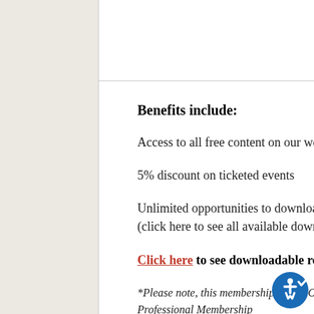25/year
Benefits include:
Access to all free content on our website
5% discount on ticketed events
Unlimited opportunities to download free content relevant to Community Supporters (click here to see all available downloads)
Click here to see downloadable resources available in this membership
*Please note, this membership does NOT include access to resources in the Family Membership and Professional Membership